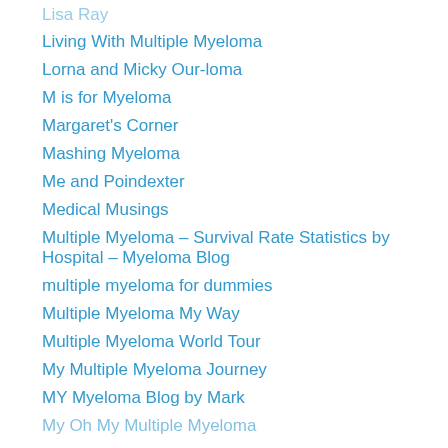Lisa Ray
Living With Multiple Myeloma
Lorna and Micky Our-loma
M is for Myeloma
Margaret's Corner
Mashing Myeloma
Me and Poindexter
Medical Musings
Multiple Myeloma – Survival Rate Statistics by Hospital – Myeloma Blog
multiple myeloma for dummies
Multiple Myeloma My Way
Multiple Myeloma World Tour
My Multiple Myeloma Journey
MY Myeloma Blog by Mark
My Oh My Multiple Myeloma